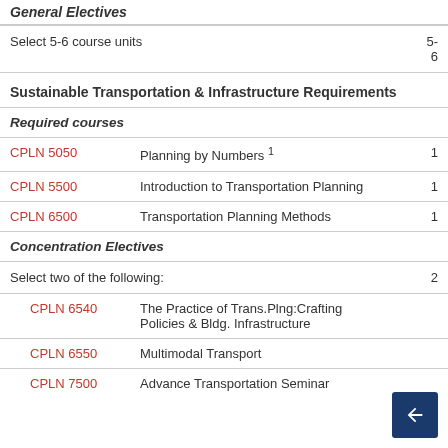General Electives
Select 5-6 course units
Sustainable Transportation & Infrastructure Requirements
Required courses
| Code | Name | Units |
| --- | --- | --- |
| CPLN 5050 | Planning by Numbers 1 | 1 |
| CPLN 5500 | Introduction to Transportation Planning | 1 |
| CPLN 6500 | Transportation Planning Methods | 1 |
Concentration Electives
Select two of the following:
| Code | Name | Units |
| --- | --- | --- |
| CPLN 6540 | The Practice of Trans.Plng:Crafting Policies & Bldg. Infrastructure |  |
| CPLN 6550 | Multimodal Transport |  |
| CPLN 7500 | Advance Transportation Seminar |  |